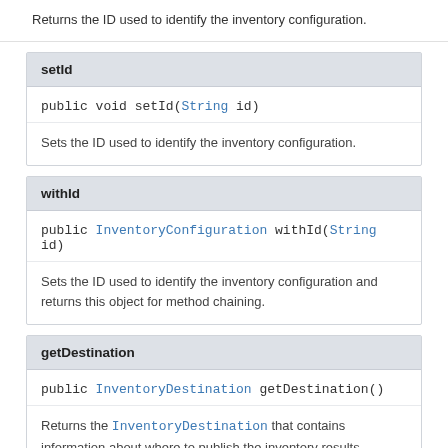Returns the ID used to identify the inventory configuration.
setId
public void setId(String id)
Sets the ID used to identify the inventory configuration.
withId
public InventoryConfiguration withId(String id)
Sets the ID used to identify the inventory configuration and returns this object for method chaining.
getDestination
public InventoryDestination getDestination()
Returns the InventoryDestination that contains information about where to publish the inventory results.